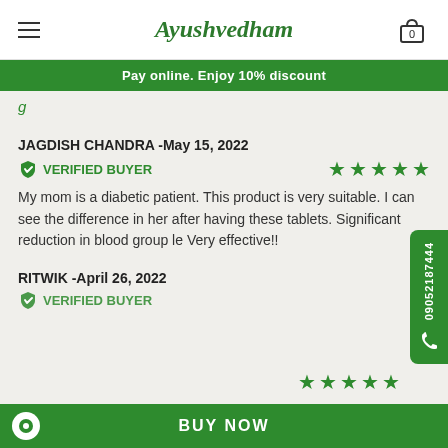Ayushvedham
Pay online. Enjoy 10% discount
g
JAGDISH CHANDRA -May 15, 2022
VERIFIED BUYER ★★★★★
My mom is a diabetic patient. This product is very suitable. I can see the difference in her after having these tablets. Significant reduction in blood group le Very effective!!
RITWIK -April 26, 2022
VERIFIED BUYER ★★★★★
BUY NOW